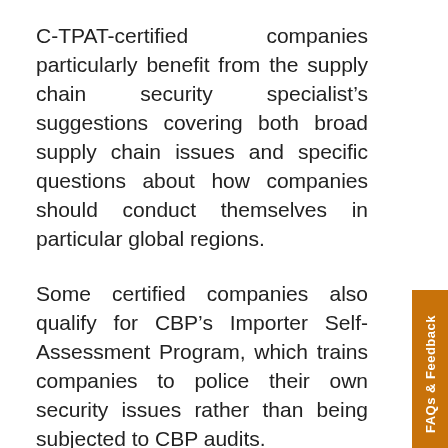C-TPAT-certified companies particularly benefit from the supply chain security specialist's suggestions covering both broad supply chain issues and specific questions about how companies should conduct themselves in particular global regions.
Some certified companies also qualify for CBP's Importer Self-Assessment Program, which trains companies to police their own security issues rather than being subjected to CBP audits.
“The first step any importer should take is to become C-TPAT-certified and validated,” advises Terry McCracken, a Customs compliance consultant with Supply Chain Solutions Inc., a Grand Rapids, Mich.-based consulting firm. “C-TPAT’s goal is to establish a cooperative relationship between government and business to strengthen and improve overall supply